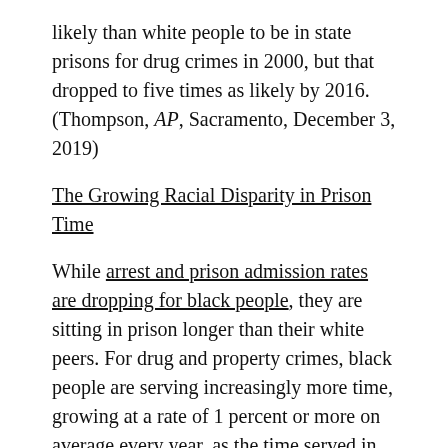likely than white people to be in state prisons for drug crimes in 2000, but that dropped to five times as likely by 2016. (Thompson, AP, Sacramento, December 3, 2019)
The Growing Racial Disparity in Prison Time
While arrest and prison admission rates are dropping for black people, they are sitting in prison longer than their white peers. For drug and property crimes, black people are serving increasingly more time, growing at a rate of 1 percent or more on average every year, as the time served in prison by white offenders has dropped. This larger trend was noted in the same aforementioned report published by the Council on Criminal Justice Monday, and The Marshall Project looks at why, considering discretionary actors in the system, criminal histories built disproportionately during decades of rising